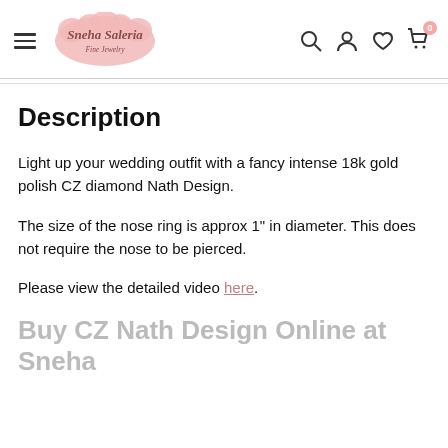Sneha Saleria Fine Jewelry — navigation header with logo and icons
Description
Light up your wedding outfit with a fancy intense 18k gold polish CZ diamond Nath Design.
The size of the nose ring is approx 1" in diameter. This does not require the nose to be pierced.
Please view the detailed video here.
Buy CZ Nath Design Online at Sneha